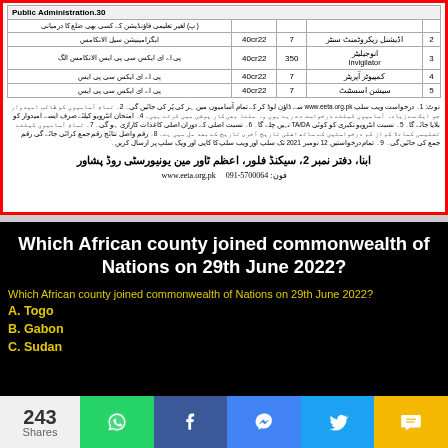|  |  |  | 40or22 | 7 |  | 2 |
| --- | --- | --- | --- | --- | --- | --- |
| 30.Public Administration |  |  |  |  |  |  |
|  |  |  |  |  |  |  |
|  |  | 40or22 | 7 |  | اڈیشنل ریکروٹمنٹ سنٹر | 2 |
|  |  | 40or22 | 350 |  | انوجیلیٹر / Invigilator | 3 |
|  |  | 40or22 | 7 |  | کمپیوٹر آپریٹر | 4 |
|  |  | 40or22 | 7 |  | سپیشن اسسٹنٹ | 5 |
نوٹ: 1۔ درخواست ویب سلپ www.eeta.org.pk سے ڈاؤن لوڈ کر کے تمام آسامیوں میں ہر کی پُر کی جائیں گی۔ 2۔ تمام آسامیوں کو طالب امیدوار جو ایک سے زیادہ آسامیوں کیلئے درخواست دے رہے ہوں ملنا بھی کارپوشی میں کرتے ہیں۔ 4۔ ہمت انٹرویو کیلئے صرف ایسے امیدوار کو بلایا جائے گا۔ 5۔ نسبت انٹرویو تکبری کو کوئی TA/DA نہیں چلے گا۔ 6۔ نسبت اسپلی کے دوران اصلی کاغذات کارازی ہو گی۔ 7۔ تمام آسامیوں کیلئے تعلیمی کمانڈ درخواست کی اصلی تاریخ آخری تاریخ کے بعد میں 8۔ واصل نتائج رقم جمع کرائی جائے گی۔ رقم فارم کی جائیں گی۔ 9۔ تمام درخواستیں 12 نومبر 2021 تک سلپ اور ویب سلپ کا کاپی درپیش کریں۔
ابنا، دفتر نمبر 2، سیکنڈ فلور، اعظم ٹاور مین یونیورسٹی روڈ پشاور
www.eeta.org.pk   091-5700064 :فون
Which African county joined commonwealth of Nations on 29th June 2022?
Which African county joined commonwealth of Nations on 29th June 2022?
A. Togo
B. Gabon
C. Sudan
243 Shares